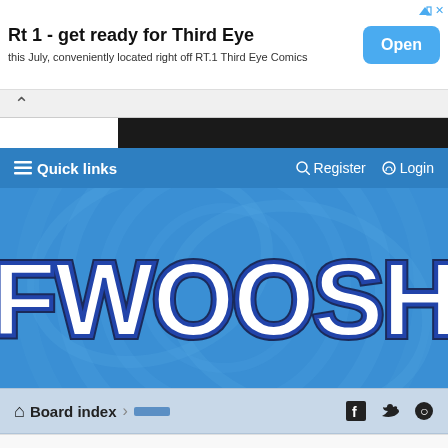[Figure (screenshot): Top advertisement banner: 'Rt 1 - get ready for Third Eye' with subtitle 'this July, conveniently located right off RT.1 Third Eye Comics' and a blue 'Open' button]
Rt 1 - get ready for Third Eye
this July, conveniently located right off RT.1 Third Eye Comics
[Figure (screenshot): Fwoosh forum website screenshot showing blue nav bar with Quick links, Register, Login, large FWOOSH logo on blue swirly background, and Board index breadcrumb bar with Facebook, Twitter, Pinterest icons]
Quick links
Register
Login
FWOOSH
Board index
[Figure (screenshot): Partial bottom advertisement showing 'New College Park' text with a thumbnail image]